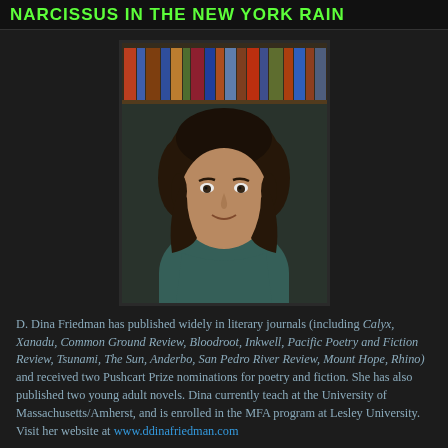NARCISSUS IN THE NEW YORK RAIN
[Figure (photo): Portrait photo of D. Dina Friedman, a woman with curly dark hair wearing a teal top, seated in front of a bookshelf with colorful book spines visible.]
D. Dina Friedman has published widely in literary journals (including Calyx, Xanadu, Common Ground Review, Bloodroot, Inkwell, Pacific Poetry and Fiction Review, Tsunami, The Sun, Anderbo, San Pedro River Review, Mount Hope, Rhino) and received two Pushcart Prize nominations for poetry and fiction. She has also published two young adult novels. Dina currently teach at the University of Massachusetts/Amherst, and is enrolled in the MFA program at Lesley University. Visit her website at www.ddinafriedman.com